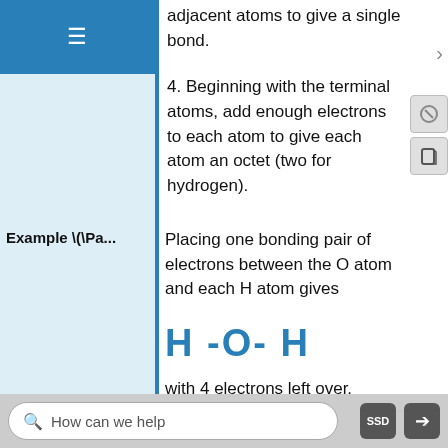≡ (navigation menu)
adjacent atoms to give a single bond.
4. Beginning with the terminal atoms, add enough electrons to each atom to give each atom an octet (two for hydrogen).
Example \(\Pa...
Placing one bonding pair of electrons between the O atom and each H atom gives
H -O- H
with 4 electrons left over.
Each H atom has a full valence shell of electrons.
How can we help  SSD